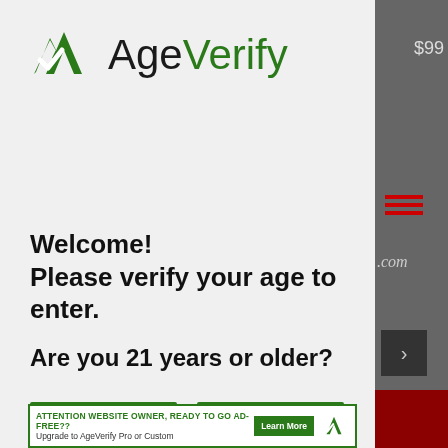[Figure (logo): AgeVerify logo with green mountain/checkmark icon and text 'AgeVerify' in black and green]
Welcome!
Please verify your age to enter.
Are you 21 years or older?
Yes
No
ATTENTION WEBSITE OWNER, READY TO GO AD-FREE?? Upgrade to AgeVerify Pro or Custom
Learn More